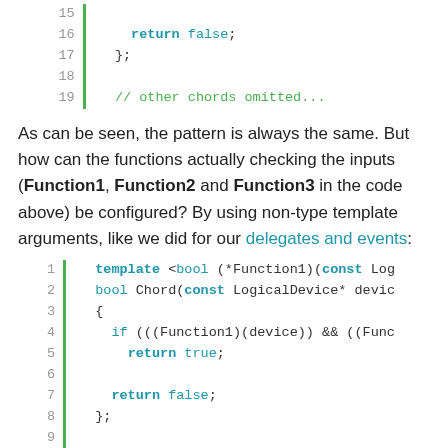[Figure (screenshot): Code block showing lines 15-19 with return false, closing brace, and comment '// other chords omitted...' in a syntax-highlighted code editor style with green vertical bar and line numbers.]
As can be seen, the pattern is always the same. But how can the functions actually checking the inputs (Function1, Function2 and Function3 in the code above) be configured? By using non-type template arguments, like we did for our delegates and events:
[Figure (screenshot): Code block showing lines 1-11 with template and bool Chord function definitions using const LogicalDevice* device parameters, if conditionals with Function1 and Func, return true and return false statements, closing braces, and a second template declaration.]